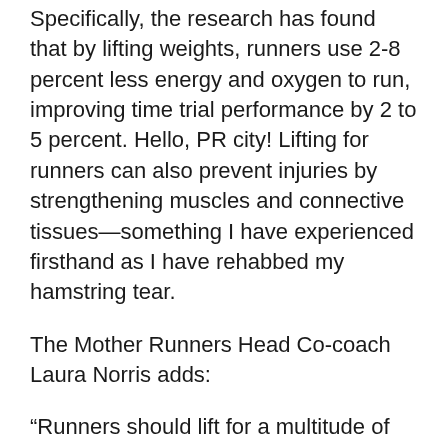Specifically, the research has found that by lifting weights, runners use 2-8 percent less energy and oxygen to run, improving time trial performance by 2 to 5 percent. Hello, PR city! Lifting for runners can also prevent injuries by strengthening muscles and connective tissues—something I have experienced firsthand as I have rehabbed my hamstring tear.
The Mother Runners Head Co-coach Laura Norris adds:
“Runners should lift for a multitude of reasons. The first is general health and wellbeing: lifting increases lean body composition and delays muscle loss with age. The second is injury prevention. Strong muscles are less likely to